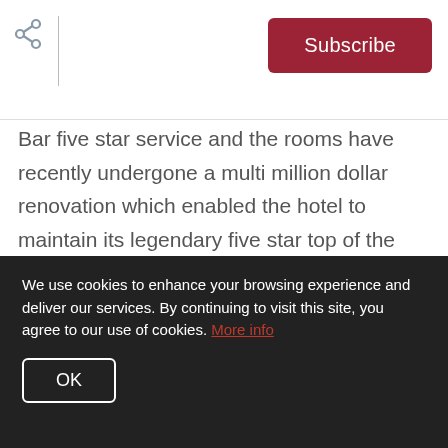Subscribe
Bar five star service and the rooms have recently undergone a multi million dollar renovation which enabled the hotel to maintain its legendary five star top of the heap Whistler hotel status.
2. Westin Whistler Resort
We use cookies to enhance your browsing experience and deliver our services. By continuing to visit this site, you agree to our use of cookies. More info
OK